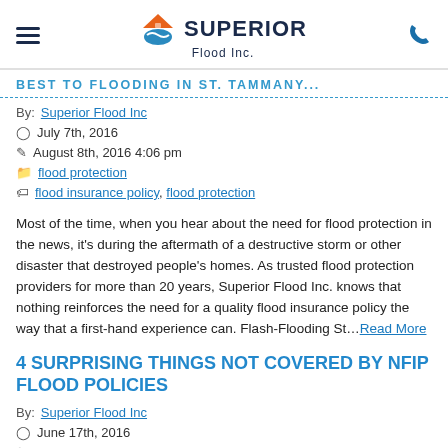Superior Flood Inc.
...BEST TO FLOODING IN ST. TAMMANY...
By: Superior Flood Inc
July 7th, 2016
August 8th, 2016 4:06 pm
flood protection
flood insurance policy, flood protection
Most of the time, when you hear about the need for flood protection in the news, it's during the aftermath of a destructive storm or other disaster that destroyed people's homes. As trusted flood protection providers for more than 20 years, Superior Flood Inc. knows that nothing reinforces the need for a quality flood insurance policy the way that a first-hand experience can. Flash-Flooding St…Read More
4 SURPRISING THINGS NOT COVERED BY NFIP FLOOD POLICIES
By: Superior Flood Inc
June 17th, 2016